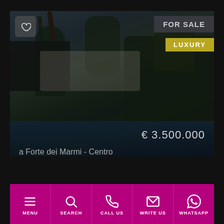[Figure (screenshot): Real estate app screenshot showing a luxury villa in Forte dei Marmi - Centro for sale at € 3.500.000, with a dark-toned photo of a property with pool and palm trees, FOR SALE and LUXURY badges, and a bottom navigation bar with Menu, Search, Call Us, Write Us, and WhatsApp options.]
FOR SALE
LUXURY
€ 3.500.000
a Forte dei Marmi - Centro
MENU
SEARCH
CALL US
WRITE US
WHATSAPP